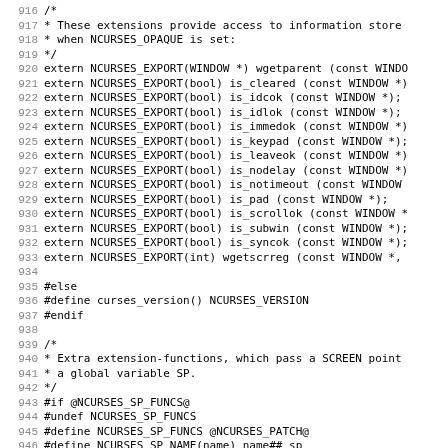Source code listing, lines 916-947, C header file with NCURSES extension function declarations and preprocessor directives